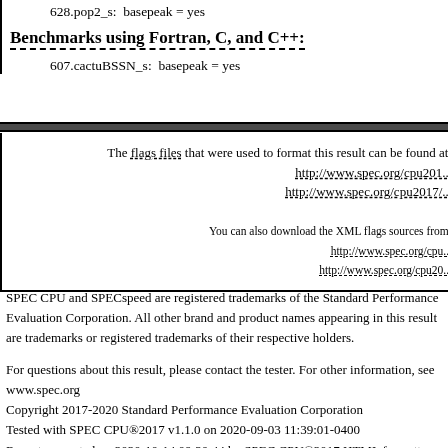628.pop2_s:  basepeak = yes
Benchmarks using Fortran, C, and C++:
607.cactuBSSN_s:  basepeak = yes
The flags files that were used to format this result can be found at:
http://www.spec.org/cpu201...
http://www.spec.org/cpu2017/...
You can also download the XML flags sources from:
http://www.spec.org/cpu...
http://www.spec.org/cpu20...
SPEC CPU and SPECspeed are registered trademarks of the Standard Performance Evaluation Corporation. All other brand and product names appearing in this result are trademarks or registered trademarks of their respective holders.
For questions about this result, please contact the tester. For other information, see www.spec.org
Copyright 2017-2020 Standard Performance Evaluation Corporation
Tested with SPEC CPU®2017 v1.1.0 on 2020-09-03 11:39:01-0400
Report generated on 2020-10-14 09:20:44 by SPEC CPU®2017 HTML formatter v1300
Originally published on 2020-10-13.